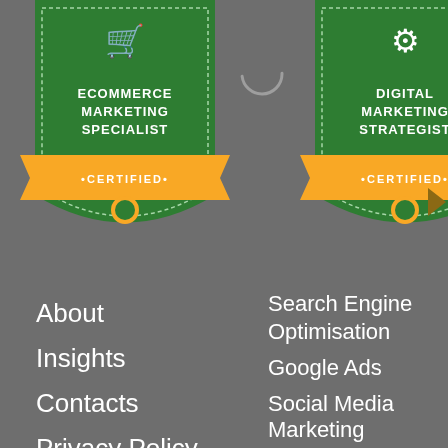[Figure (illustration): Ecommerce Marketing Specialist Certified badge - green shield shape with shopping cart icon, yellow certified ribbon at bottom]
[Figure (illustration): Digital Marketing Strategist Certified badge - green shield shape with gear icon, yellow certified ribbon at bottom]
About
Insights
Contacts
Privacy Policy
Search Engine Optimisation
Google Ads
Social Media Marketing
Lead Generation
Inbound Marketing
Content Writing